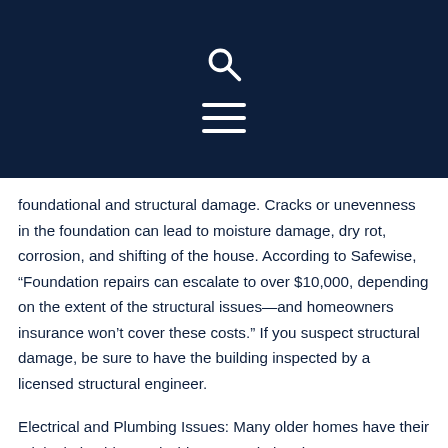[Search icon] [Menu icon]
foundational and structural damage. Cracks or unevenness in the foundation can lead to moisture damage, dry rot, corrosion, and shifting of the house. According to Safewise, “Foundation repairs can escalate to over $10,000, depending on the extent of the structural issues—and homeowners insurance won’t cover these costs.” If you suspect structural damage, be sure to have the building inspected by a licensed structural engineer.
Electrical and Plumbing Issues: Many older homes have their original plumbing and wiring, as updating these systems can be costly. Keeping the original